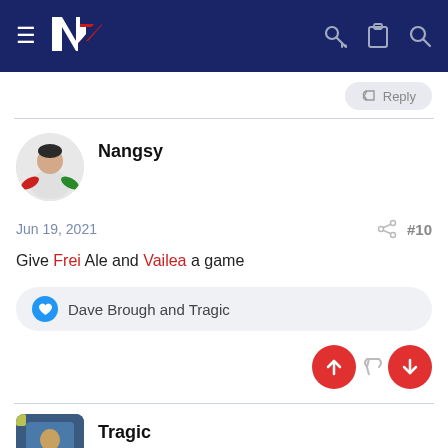[Figure (screenshot): Navigation bar with hamburger menu, NZ Warriors logo, key icon, clipboard icon, and search icon on dark blue background]
Reply
Nangsy
Jun 19, 2021
#10
Give Frei Ale and Vailea a game
Dave Brough and Tragic
Tragic